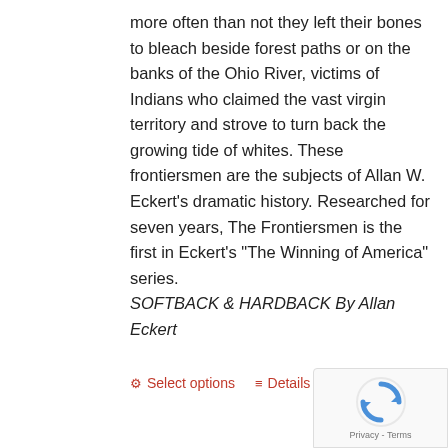more often than not they left their bones to bleach beside forest paths or on the banks of the Ohio River, victims of Indians who claimed the vast virgin territory and strove to turn back the growing tide of whites. These frontiersmen are the subjects of Allan W. Eckert's dramatic history. Researched for seven years, The Frontiersmen is the first in Eckert's "The Winning of America" series. SOFTBACK & HARDBACK By Allan Eckert
Select options   Details
[Figure (other): reCAPTCHA badge with rotating arrows logo and Privacy - Terms text]